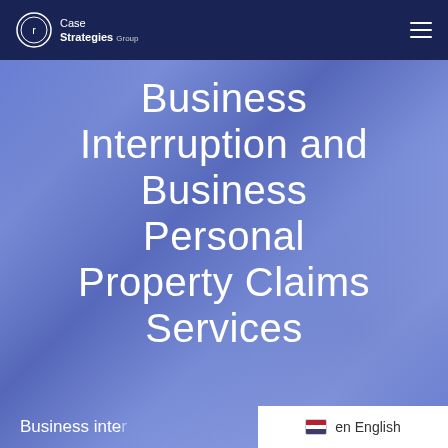Case Strategies Group
Business Interruption and Business Personal Property Claims Services
Business inte...
en English